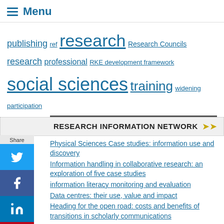Menu
publishing ref research Research Councils research professional RKE development framework social sciences training widening participation
RESEARCH INFORMATION NETWORK
Physical Sciences Case studies: information use and discovery
Information handling in collaborative research: an exploration of five case studies
information literacy monitoring and evaluation
Data centres: their use, value and impact
Heading for the open road: costs and benefits of transitions in scholarly communications